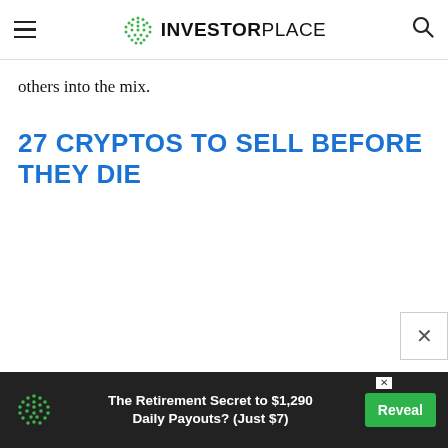INVESTORPLACE
others into the mix.
27 CRYPTOS TO SELL BEFORE THEY DIE
[Figure (other): Close (X) popup button on right side]
[Figure (other): Advertisement banner: The Retirement Secret to $1,290 Daily Payouts? (Just $7) with Reveal button]